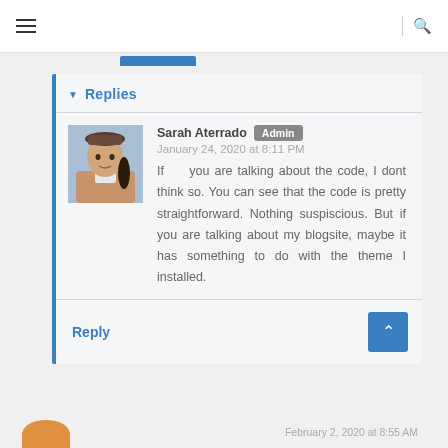≡  |  🔍
▼ Replies
Sarah Aterrado Admin
January 24, 2020 at 8:11 PM
If you are talking about the code, I dont think so. You can see that the code is pretty straightforward. Nothing suspiscious. But if you are talking about my blogsite, maybe it has something to do with the theme I installed.
Reply
February 2, 2020 at 8:55 AM